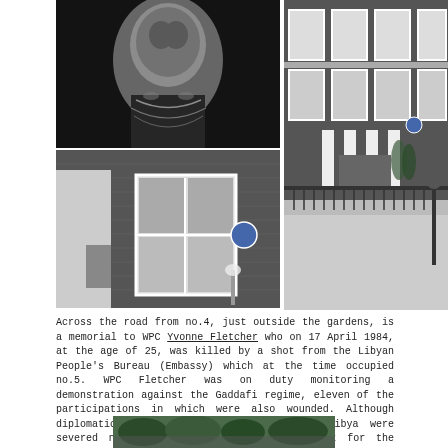[Figure (photo): Black and white portrait photograph of a woman wearing pearl necklaces and elegant attire]
[Figure (photo): Photograph of a dark brick building with blue heritage plaque, white window surrounds and iron railings]
[Figure (photo): Wide photograph of a Georgian townhouse facade with white columned entrance, iron railings, and blue heritage plaque]
Across the road from no.4, just outside the gardens, is a memorial to WPC Yvonne Fletcher who on 17 April 1984, at the age of 25, was killed by a shot from the Libyan People's Bureau (Embassy) which at the time occupied no.5. WPC Fletcher was on duty monitoring a demonstration against the Gaddafi regime, eleven of the participations in which were also wounded. Although diplomatic relations between the UK and Libya were severed no-one was ever brought to account for the murder. Two years later US fighter planes conducted bombing raids on Libya having taken off from UK air bases with the acquiescence of Margaret Thatcher.
[Figure (photo): Partial photograph at bottom of page showing greenery/garden scene]